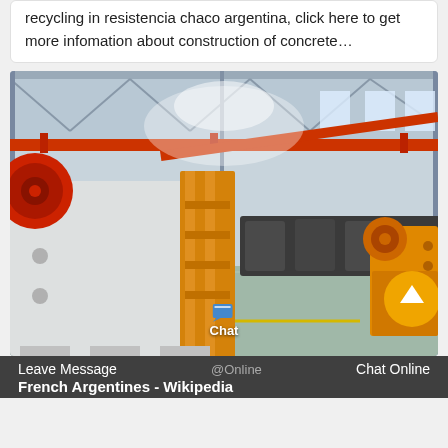recycling in resistencia chaco argentina, click here to get more infomation about construction of concrete…
[Figure (photo): Interior of a large industrial factory/warehouse with heavy machinery including jaw crushers (yellow and white), red overhead cranes, and various industrial equipment on a polished floor under a steel truss roof.]
Chat
Leave Message   @Online   Chat Online
French Argentines - Wikipedia